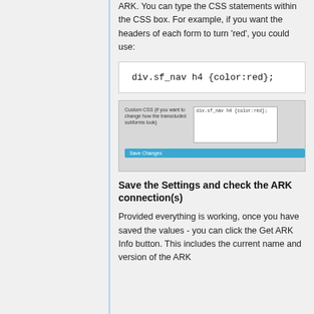ARK. You can type the CSS statements within the CSS box. For example, if you want the headers of each form to turn 'red', you could use:
[Figure (screenshot): Screenshot showing a Custom CSS input field with 'div.sf_nav h4 {color:red};' typed in, and a 'Save Changes' button below.]
Save the Settings and check the ARK connection(s)
Provided everything is working, once you have saved the values - you can click the Get ARK Info button. This includes the current name and version of the ARK